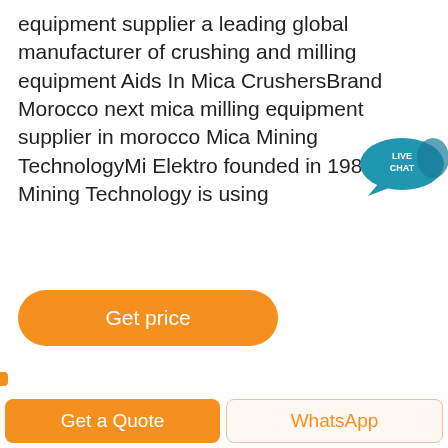equipment supplier a leading global manufacturer of crushing and milling equipment Aids In Mica CrushersBrand Morocco next mica milling equipment supplier in morocco Mica Mining TechnologyMi Elektro founded in 1983 Mining Technology is using
[Figure (other): Live chat speech bubble badge with teal background, text LIVE CHAT in white]
[Figure (other): Orange rounded button labeled Get price]
[Figure (photo): Outdoor landscape photo of a mining site with piles of gravel/ore, green forested hills in background, overcast sky]
[Figure (other): Dark circular scroll-to-top button with upward chevron]
[Figure (other): Bottom navigation bar with orange Get a Quote button and white WhatsApp button]